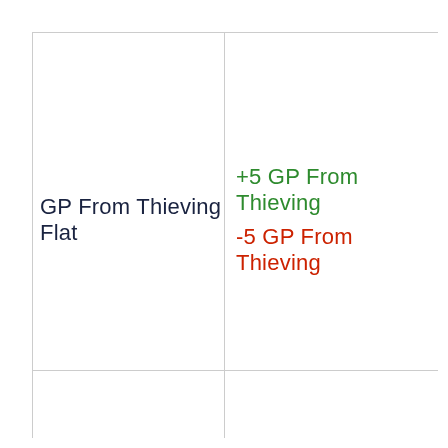GP From Thieving Flat
+5 GP From Thieving
-5 GP From Thieving